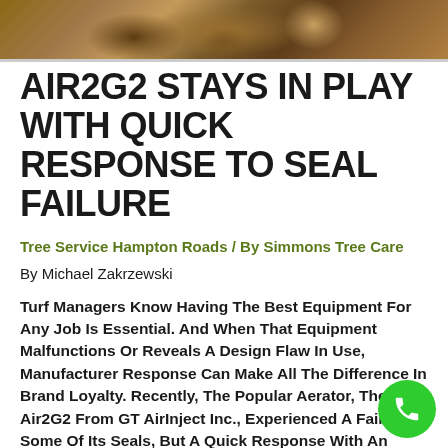[Figure (photo): Close-up photo of wood grain/tree rings, showing a cross-section of a log with brown and tan tones]
AIR2G2 STAYS IN PLAY WITH QUICK RESPONSE TO SEAL FAILURE
Tree Service Hampton Roads / By Simmons Tree Care
By Michael Zakrzewski
Turf Managers Know Having The Best Equipment For Any Job Is Essential. And When That Equipment Malfunctions Or Reveals A Design Flaw In Use, Manufacturer Response Can Make All The Difference In Brand Loyalty. Recently, The Popular Aerator, The Air2G2 From GT AirInject Inc., Experienced A Failure In Some Of Its Seals, But A Quick Response With An Effective Solution, Kept The Unit In Play At Its High Profile Golf And Sports Venues.